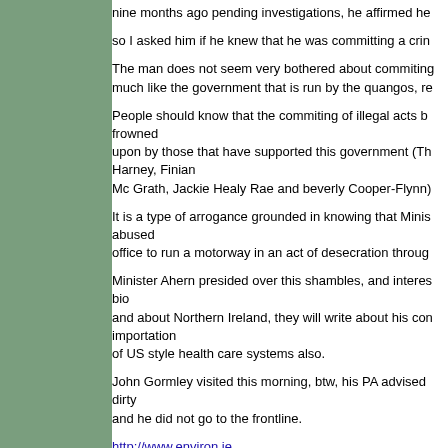nine months ago pending investigations, he affirmed he
so I asked him if he knew that he was committing a crin
The man does not seem very bothered about commiting much like the government that is run by the quangos, re
People should know that the commiting of illegal acts by frowned upon by those that have supported this government (Th Harney, Finian Mc Grath, Jackie Healy Rae and beverly Cooper-Flynn)
It is a type of arrogance grounded in knowing that Minis abused office to run a motorway in an act of desecration throug
Minister Ahern presided over this shambles, and interes bio and about Northern Ireland, they will write about his con importation of US style health care systems also.
John Gormley visited this morning, btw, his PA advised dirty and he did not go to the frontline.
http://www.environ.ie how long are we going to sit and watch the abuse of ma group